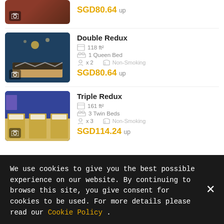[Figure (photo): Partial top view of a hotel room photo with camera icon]
SGD80.64 up
[Figure (photo): Double Redux hotel room with dark blue wall and queen bed, camera icon overlay]
Double Redux
118 ft²
1 Queen Bed
x 2   Non-Smoking
SGD80.64 up
[Figure (photo): Triple Redux hotel room with blue wall and three twin beds, camera icon overlay]
Triple Redux
161 ft²
3 Twin Beds
x 3   Non-Smoking
SGD114.24 up
We use cookies to give you the best possible experience on our website. By continuing to browse this site, you give consent for cookies to be used. For more details please read our Cookie Policy .